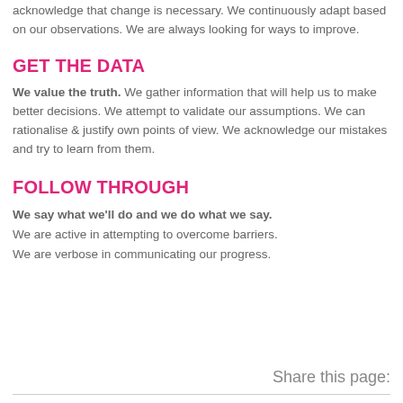We are not fixed in our approach. We acknowledge that change is necessary. We continuously adapt based on our observations. We are always looking for ways to improve.
GET THE DATA
We value the truth. We gather information that will help us to make better decisions. We attempt to validate our assumptions. We can rationalise & justify own points of view. We acknowledge our mistakes and try to learn from them.
FOLLOW THROUGH
We say what we'll do and we do what we say. We are active in attempting to overcome barriers. We are verbose in communicating our progress.
Share this page: